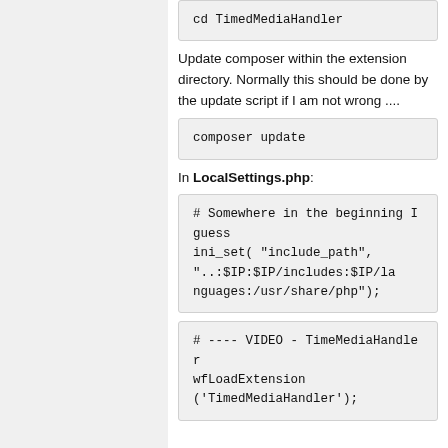cd TimedMediaHandler
Update composer within the extension directory. Normally this should be done by the update script if I am not wrong ....
composer update
In LocalSettings.php:
# Somewhere in the beginning I guess
ini_set( "include_path",
"..:$IP:$IP/includes:$IP/languages:/usr/share/php");
# ---- VIDEO - TimeMediaHandler
wfLoadExtension
('TimedMediaHandler');